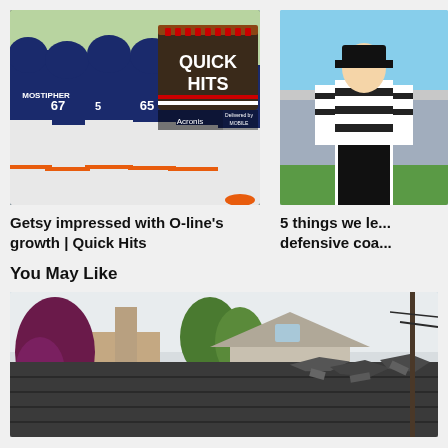[Figure (photo): Chicago Bears football players huddled together on the field in navy blue uniforms with numbers 67, 65 visible; Quick Hits notebook graphic and Acronis logo overlay in top right]
Getsy impressed with O-line's growth | Quick Hits
[Figure (photo): NFL referee in black and white striped shirt standing on field, partially cropped on right side]
5 things we le... defensive coa...
You May Like
[Figure (photo): Outdoor scene showing a house roof with storm or hail damage, trees in background including a purple-leafed tree on the left, overcast sky]